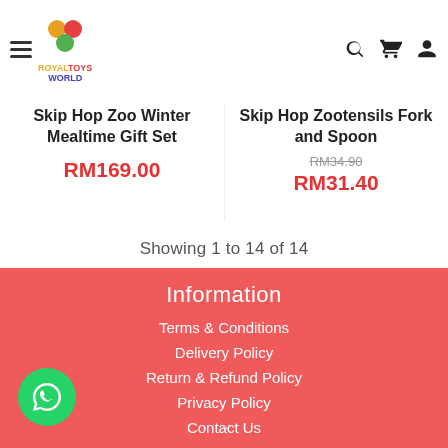RoyalToys World
Skip Hop Zoo Winter Mealtime Gift Set
RM169.00
Skip Hop Zootensils Fork and Spoon
RM34.90 RM31.40
Showing 1 to 14 of 14
Information
Terms & Conditions
Delivery Policy
Return & Refund Policy
Privacy Policy
Contact Us